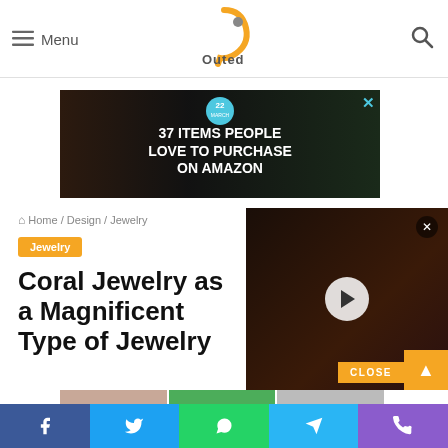Menu | Outed (logo) | Search
[Figure (screenshot): Advertisement banner: dark background with kitchen knives and food items, text '37 ITEMS PEOPLE LOVE TO PURCHASE ON AMAZON', badge '22', close X button]
Home / Design / Jewelry
Jewelry
Coral Jewelry as a Magnificent Type of Jewelry
[Figure (screenshot): Video overlay player showing dark scene with play button and close button]
CLOSE
Facebook | Twitter | WhatsApp | Telegram | Phone